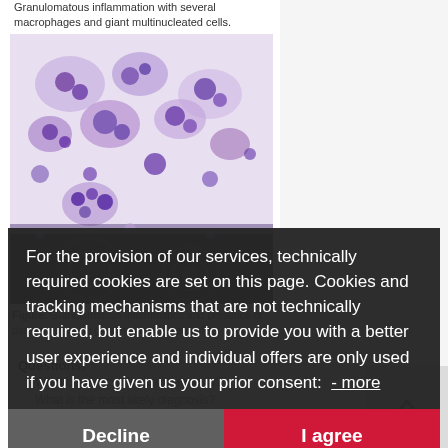Granulomatous inflammation with several macrophages and giant multinucleated cells. Modified-Wright stain.
[Figure (photo): Microscopy image showing granulomatous inflammation with macrophages and giant multinucleated cells, stained with Modified-Wright stain. Purple and white cell clusters visible with parasitic ova in lower portion.]
Figure. Granulomatous inflammation and presence of parasitic ova and giant multinucleated cells.
Questions:
What is your cytological diagnosis?
What is the most likely diagnosis?
Which further tests would you perform to better identify the infectious agent?
1. What is your cytological diagnosis?
For the provision of our services, technically required cookies are set on this page. Cookies and tracking mechanisms that are not technically required, but enable us to provide you with a better user experience and individual offers are only used if you have given us your prior consent: - more
Decline | I agree